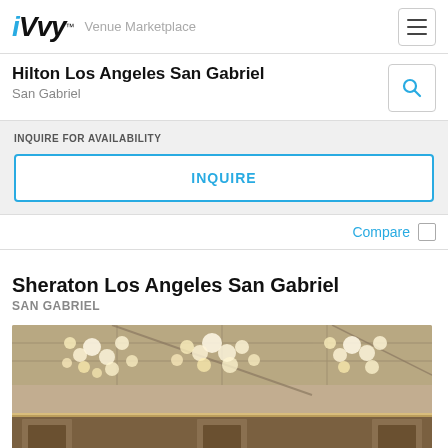iVvy Venue Marketplace
Hilton Los Angeles San Gabriel
San Gabriel
INQUIRE FOR AVAILABILITY
INQUIRE
Compare
Sheraton Los Angeles San Gabriel
SAN GABRIEL
[Figure (photo): Interior photo of a hotel ballroom or event space with ornate hanging globe lights on the ceiling and decorative wall panels, warm beige/gold tones]